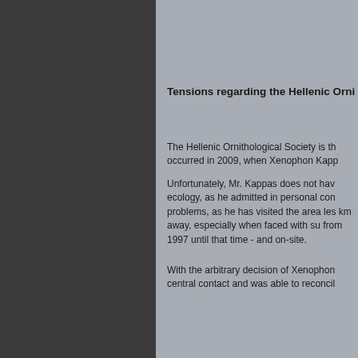Tensions regarding the Hellenic Orni
The Hellenic Ornithological Society is th occurred in 2009, when Xenophon Kapp
Unfortunately, Mr. Kappas does not hav ecology, as he admitted in personal con problems, as he has visited the area les km away, especially when faced with su from 1997 until that time - and on-site.
With the arbitrary decision of Xenophon central contact and was able to reconcil